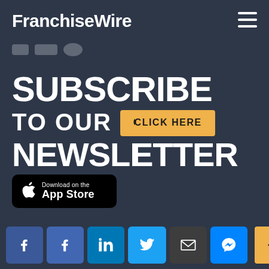FranchiseWire
[Figure (screenshot): Small social media icon placeholders (rectangles) in a row near top left]
SUBSCRIBE TO OUR NEWSLETTER
[Figure (infographic): Click Here button in gold/amber color]
[Figure (logo): Download on the App Store button with Apple logo]
[Figure (infographic): Bottom row of social media share buttons: Facebook (dark blue), Facebook (blue), LinkedIn, Twitter, Email, Messenger, and an up-arrow gold button]